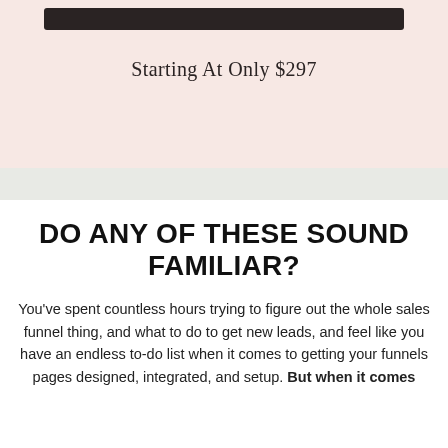Starting At Only $297
DO ANY OF THESE SOUND FAMILIAR?
You've spent countless hours trying to figure out the whole sales funnel thing, and what to do to get new leads, and feel like you have an endless to-do list when it comes to getting your funnels pages designed, integrated, and setup. But when it comes